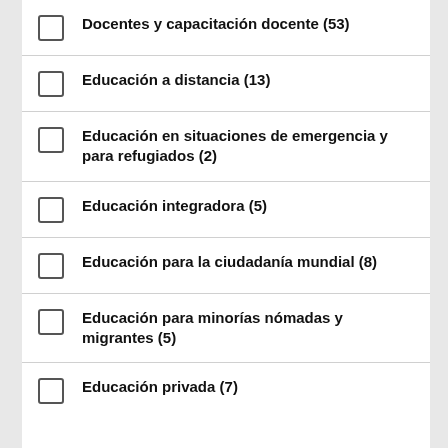Docentes y capacitación docente (53)
Educación a distancia (13)
Educación en situaciones de emergencia y para refugiados (2)
Educación integradora (5)
Educación para la ciudadanía mundial (8)
Educación para minorías nómadas y migrantes (5)
Educación privada (7)